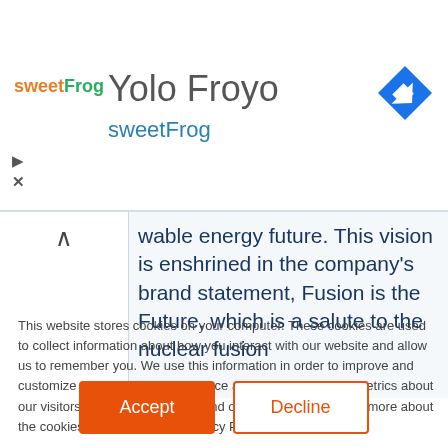[Figure (screenshot): sweetFrog logo — colorful text logo with orange 'sweet' and green 'Frog']
Yolo Froyo
sweetFrog
[Figure (illustration): Blue diamond navigation arrow icon (Google Maps style turn-by-turn arrow)]
wable energy future. This vision is enshrined in the company's brand statement, Fusion is the Future, which is a salute to the nuclear fusion
This website stores cookies on your computer. These cookies are used to collect information about how you interact with our website and allow us to remember you. We use this information in order to improve and customize your browsing experience and for analytics and metrics about our visitors both on this website and other media. To find out more about the cookies we use, see our Privacy Policy

If you decline, your information won't be tracked when you visit this website. A single cookie will be used in your browser to remember your preference not to be tracked.